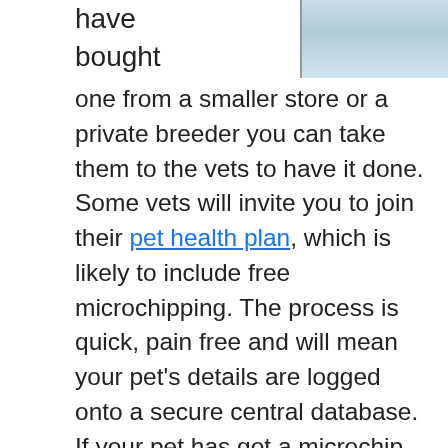have
bought
[Figure (photo): Partial image of a dog or cat, light blue/grey background, animal paws or fur visible at top right of page]
one from a smaller store or a private breeder you can take them to the vets to have it done. Some vets will invite you to join their pet health plan, which is likely to include free microchipping. The process is quick, pain free and will mean your pet's details are logged onto a secure central database. If your pet has got a microchip, remember to inform your insurer and let them know the unique microchip number. Due to recent changes in legislation in England, most dog insurance providers require your dog to be microchipped before they will consider insuring them. Not only does microchipping your pet save money on insurance, but it also gives you the added security